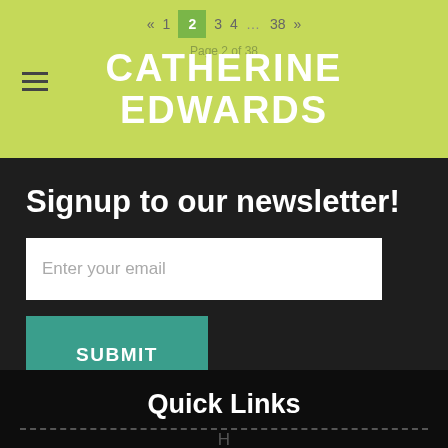« 1 2 3 4 … 38 »
Page 2 of 38
CATHERINE EDWARDS
Signup to our newsletter!
Enter your email
SUBMIT
Quick Links
H